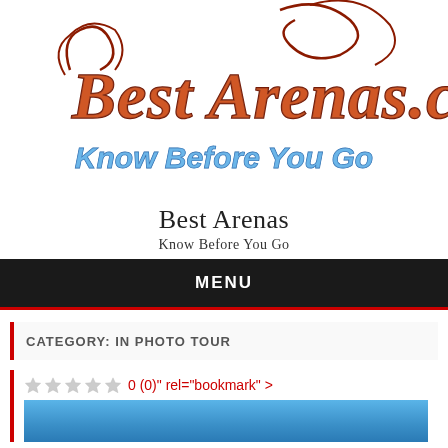[Figure (logo): BestArenas.com logo with decorative red/brown lettering and blue 'Know Before You Go' tagline]
Best Arenas
Know Before You Go
MENU
CATEGORY: IN PHOTO TOUR
0 (0)" rel="bookmark" >
[Figure (photo): Blue sky/background image strip at bottom of card]